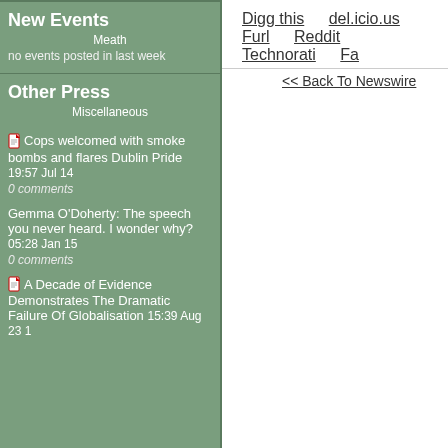Digg this   del.icio.us   Furl   Reddit   Technorati   Fa...
<< Back To Newswire
New Events
Meath
no events posted in last week
Other Press
Miscellaneous
Cops welcomed with smoke bombs and flares Dublin Pride 19:57 Jul 14
0 comments
Gemma O'Doherty: The speech you never heard. I wonder why? 05:28 Jan 15
0 comments
A Decade of Evidence Demonstrates The Dramatic Failure Of Globalisation 15:39 Aug 23 1